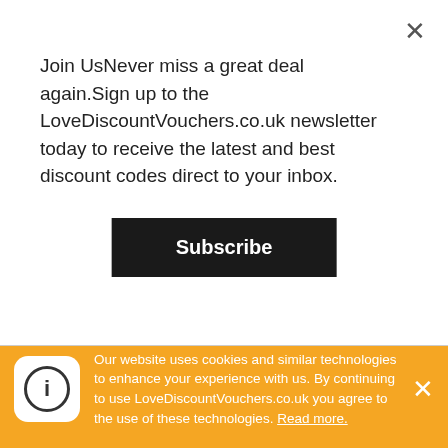Join UsNever miss a great deal again.Sign up to the LoveDiscountVouchers.co.uk newsletter today to receive the latest and best discount codes direct to your inbox.
Subscribe
apply for checking in/out early/late.
Great deals & offers
Wonderful packages
Fair value pricing
Good reviews
Our website uses cookies and similar technologies to enhance your experience with us. By continuing to use LoveDiscountVouchers.co.uk you agree to the use of these technologies. Read more.